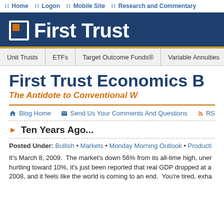Home • Logon • Mobile Site • Research and Commentary
[Figure (logo): First Trust logo with white square bracket icon and white text 'First Trust' on dark blue background]
Unit Trusts | ETFs | Target Outcome Funds® | Variable Annuities | Clo...
First Trust Economics B
The Antidote to Conventional W
Blog Home   Send Us Your Comments And Questions   RSS
Ten Years Ago...
Posted Under: Bullish • Markets • Monday Morning Outlook • Producti...
It's March 8, 2009.  The market's down 56% from its all-time high, uner... hurtling toward 10%, it's just been reported that real GDP dropped at a... 2008, and it feels like the world is coming to an end.  You're tired, exha...